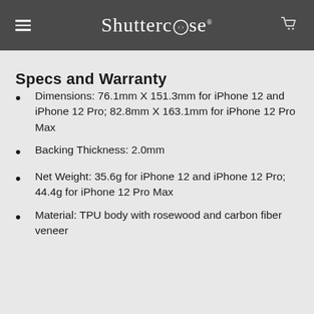Shuttercase
Specs and Warranty
Dimensions: 76.1mm X 151.3mm for iPhone 12 and iPhone 12 Pro; 82.8mm X 163.1mm for iPhone 12 Pro Max
Backing Thickness: 2.0mm
Net Weight: 35.6g for iPhone 12 and iPhone 12 Pro; 44.4g for iPhone 12 Pro Max
Material: TPU body with rosewood and carbon fiber veneer